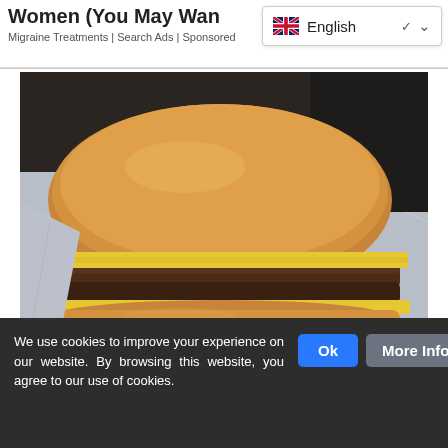Women (You May Wan…
Migraine Treatments | Search Ads | Sponsored
[Figure (photo): Close-up photo of a double cheeseburger with melted cheese slices, sitting on crinkled aluminum foil wrapper]
7 Legal Discounts Seniors Only Get If They Ask This 2022
We use cookies to improve your experience on our website. By browsing this website, you agree to our use of cookies.
Ok  More Info